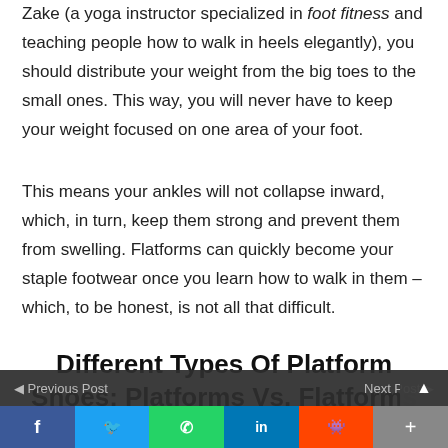Zake (a yoga instructor specialized in foot fitness and teaching people how to walk in heels elegantly), you should distribute your weight from the big toes to the small ones. This way, you will never have to keep your weight focused on one area of your foot.
This means your ankles will not collapse inward, which, in turn, keep them strong and prevent them from swelling. Flatforms can quickly become your staple footwear once you learn how to walk in them – which, to be honest, is not all that difficult.
Different Types Of Platform Shoes: Platforms Vs. Flatforms